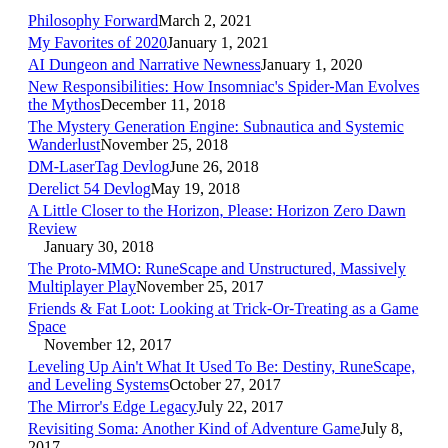Philosophy Forward   March 2, 2021
My Favorites of 2020   January 1, 2021
AI Dungeon and Narrative Newness   January 1, 2020
New Responsibilities: How Insomniac's Spider-Man Evolves the Mythos   December 11, 2018
The Mystery Generation Engine: Subnautica and Systemic Wanderlust   November 25, 2018
DM-LaserTag Devlog   June 26, 2018
Derelict 54 Devlog   May 19, 2018
A Little Closer to the Horizon, Please: Horizon Zero Dawn Review   January 30, 2018
The Proto-MMO: RuneScape and Unstructured, Massively Multiplayer Play   November 25, 2017
Friends & Fat Loot: Looking at Trick-Or-Treating as a Game Space   November 12, 2017
Leveling Up Ain't What It Used To Be: Destiny, RuneScape, and Leveling Systems   October 27, 2017
The Mirror's Edge Legacy   July 22, 2017
Revisiting Soma: Another Kind of Adventure Game   July 8, 2017